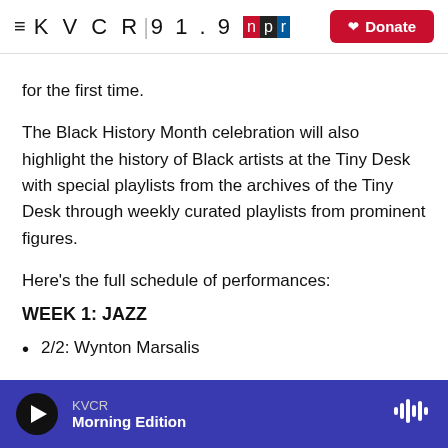≡ KVCR 91.9 npr Donate
for the first time.
The Black History Month celebration will also highlight the history of Black artists at the Tiny Desk with special playlists from the archives of the Tiny Desk through weekly curated playlists from prominent figures.
Here's the full schedule of performances:
WEEK 1: JAZZ
2/2: Wynton Marsalis
KVCR Morning Edition